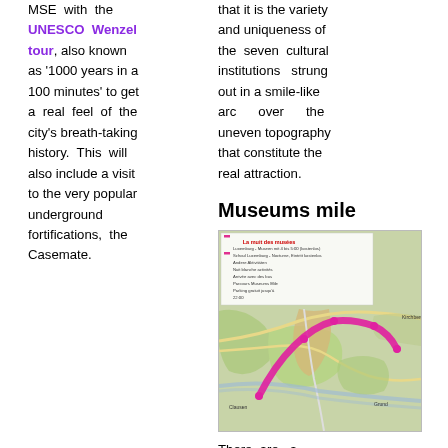MSE with the UNESCO Wenzel tour, also known as '1000 years in a 100 minutes' to get a real feel of the city's breath-taking history. This will also include a visit to the very popular underground fortifications, the Casemate.
that it is the variety and uniqueness of the seven cultural institutions strung out in a smile-like arc over the uneven topography that constitute the real attraction.
Museums mile
[Figure (map): A map of Luxembourg city showing the Museums Mile route marked with a pink/magenta arc connecting cultural institutions, with a legend in the upper portion.]
There are a surprising number of museums and art centres in the capital of Luxembourg. They